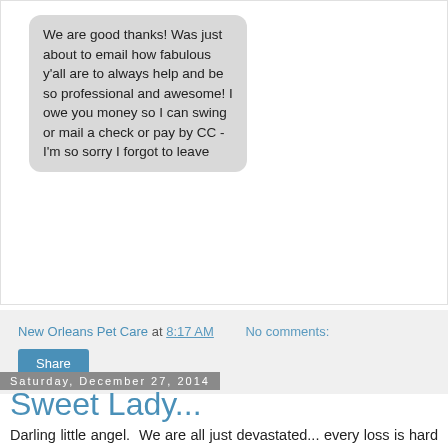[Figure (screenshot): A screenshot of a text message bubble with gray background, reading: 'We are good thanks! Was just about to email how fabulous y'all are to always help and be so professional and awesome! I owe you money so I can swing or mail a check or pay by CC - I'm so sorry I forgot to leave']
New Orleans Pet Care at 8:17 AM    No comments:
Share
Saturday, December 27, 2014
Sweet Lady...
Darling little angel.  We are all just devastated... every loss is hard but loosing you has shaken all of us.  You don't know this but after Hurricane Katrina, you were one of our first babies.  They literally "fought" over who got to see you everyday.  You are just one of those little ones that we could not get enough of.  I know you were old and tired but so